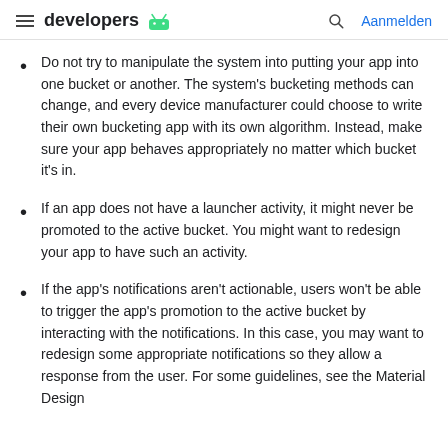developers | Aanmelden
Do not try to manipulate the system into putting your app into one bucket or another. The system's bucketing methods can change, and every device manufacturer could choose to write their own bucketing app with its own algorithm. Instead, make sure your app behaves appropriately no matter which bucket it's in.
If an app does not have a launcher activity, it might never be promoted to the active bucket. You might want to redesign your app to have such an activity.
If the app's notifications aren't actionable, users won't be able to trigger the app's promotion to the active bucket by interacting with the notifications. In this case, you may want to redesign some appropriate notifications so they allow a response from the user. For some guidelines, see the Material Design